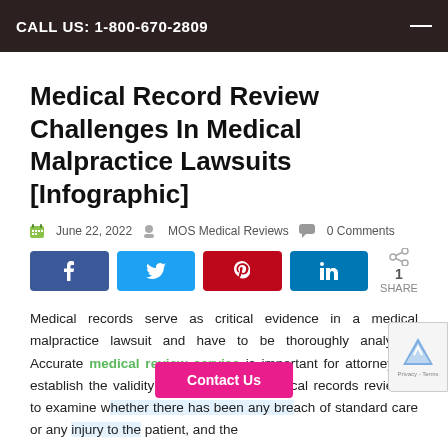CALL US: 1-800-670-2809
Medical Record Review Challenges In Medical Malpractice Lawsuits [Infographic]
June 22, 2022  MOS Medical Reviews  0 Comments
[Figure (other): Social share buttons: Facebook, Twitter, Pinterest, LinkedIn, and share count showing 1 SHARE]
Medical records serve as critical evidence in a medical malpractice lawsuit and have to be thoroughly analyzed. Accurate medical review service is important for attorneys to establish the validity of injury claims. Medical records reviewed to examine whether there has been any breach of standard care or any injury to the patient, and the